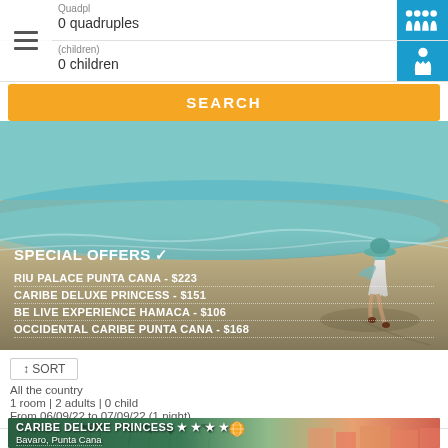Quadpl
0 quadruples
0 children
SEARCH
SPECIAL OFFERS ✓
RIU PALACE PUNTA CANA - $223
CARIBE DELUXE PRINCESS - $151
BE LIVE EXPERIENCE HAMACA - $106
OCCIDENTAL CARIBE PUNTA CANA - $168
↕ SORT
All the country
1 room | 2 adults | 0 child
From 06/09/22 to 07/09/22 (1 night)
CARIBE DELUXE PRINCESS ★ ★ ★ ★
Bavaro, Punta Cana